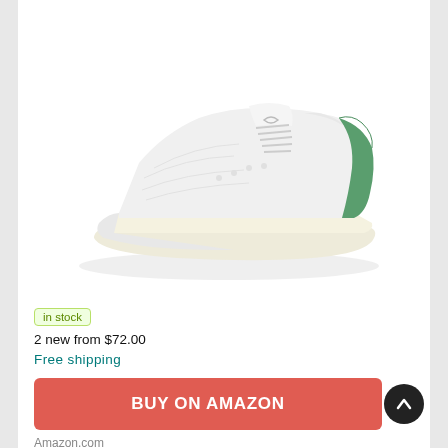[Figure (photo): White and green Adidas Stan Smith sneaker on white background, side profile view showing textured white leather upper with green heel tab]
in stock
2 new from $72.00
Free shipping
BUY ON AMAZON
Amazon.com